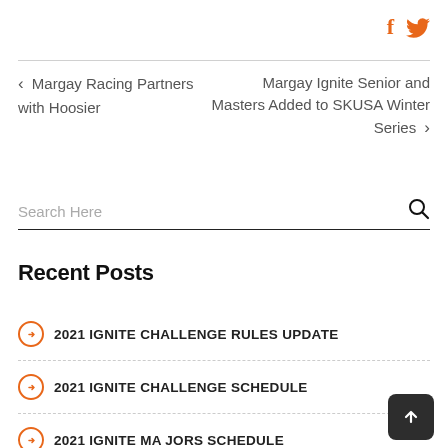[Figure (logo): Social media icons: Facebook (f) and Twitter bird icon in orange]
< Margay Racing Partners with Hoosier
Margay Ignite Senior and Masters Added to SKUSA Winter Series >
Search Here
Recent Posts
2021 IGNITE CHALLENGE RULES UPDATE
2021 IGNITE CHALLENGE SCHEDULE
2021 IGNITE MAJORS SCHEDULE